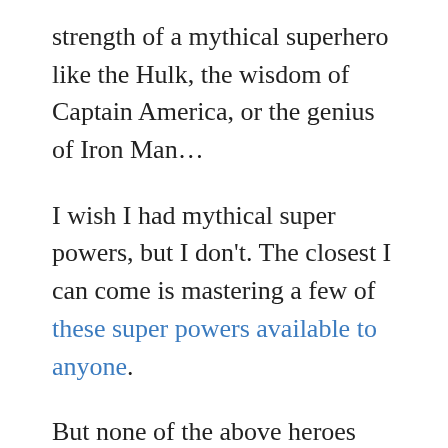strength of a mythical superhero like the Hulk, the wisdom of Captain America, or the genius of Iron Man…
I wish I had mythical super powers, but I don't. The closest I can come is mastering a few of these super powers available to anyone.
But none of the above heroes exist, so we won't be talking about them here. Instead, we'll delve into the lives of 10 real life superheroes. People who probably never should